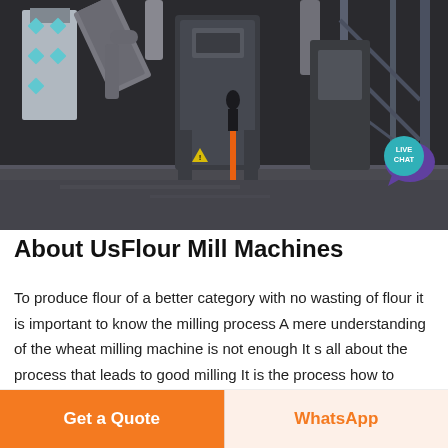[Figure (photo): Industrial flour mill machinery interior showing large mill equipment, metal structures, pipes and ducts, wet concrete floor, with a person standing near orange equipment in the center]
About UsFlour Mill Machines
To produce flour of a better category with no wasting of flour it is important to know the milling process A mere understanding of the wheat milling machine is not enough It s all about the process that leads to good milling It is the process how to isolate filths from grain and singling out the different bits
Get a Quote   WhatsApp